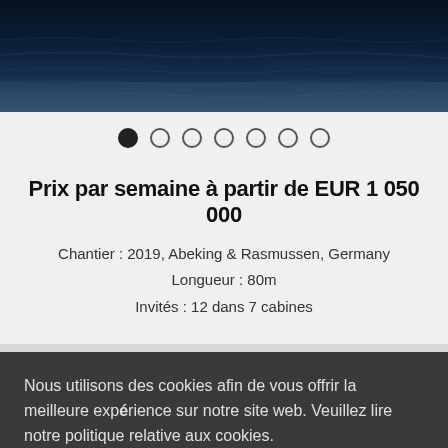[Figure (photo): Dark ocean water background image at the top of the page]
[Figure (other): Carousel dot navigation with 7 dots, first dot filled/active, remaining 6 empty circles]
Prix par semaine à partir de EUR 1 050 000
Chantier : 2019, Abeking & Rasmussen, Germany
Longueur : 80m
Invités : 12 dans 7 cabines
Nous utilisons des cookies afin de vous offrir la meilleure expérience sur notre site web. Veuillez lire notre politique relative aux cookies.
En savoir plus >
Acceptez